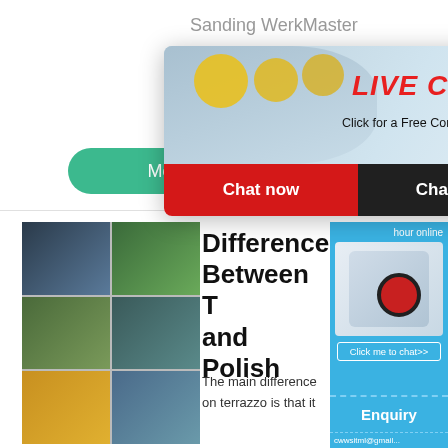Sanding WerkMaster Machines are 7 Machines in 1 – Grinder, stripper, sander, buffer, burnisher, polisher and edger. Effectively
More
[Figure (photo): Industrial machinery photo grid showing various industrial equipment and factory scenes]
Differences Between T... and Polish...
The main difference... on terrazzo is that it...
[Figure (infographic): Live chat popup with workers in yellow helmets, LIVE CHAT header in red italic text, Chat now and Chat later buttons]
[Figure (infographic): Right sidebar widget showing industrial machine, Click me to chat>> button, Enquiry section, and email address]